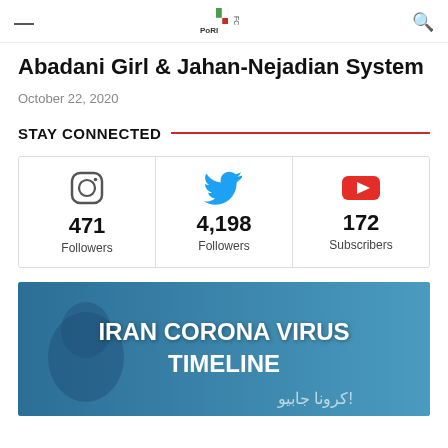Abadani Girl & Jahan-Nejadian System
Abadani Girl & Jahan-Nejadian System
October 22, 2020
STAY CONNECTED
| Instagram | Twitter | YouTube |
| --- | --- | --- |
| 471 Followers | 4,198 Followers | 172 Subscribers |
[Figure (infographic): Iran Corona Virus Timeline banner image with face silhouette and Arabic text on blue background]